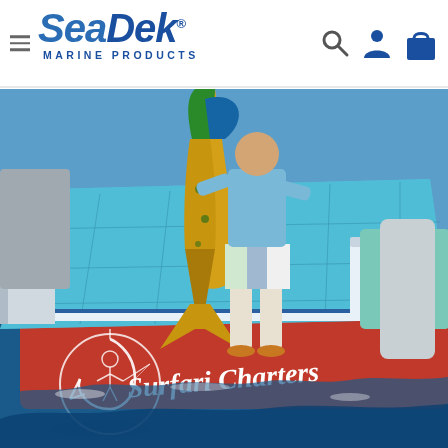SeaDek Marine Products — navigation header with logo and icons
[Figure (photo): Fishing charter boat scene showing anglers on a blue SeaDek-covered boat deck (Surfari Charters) with a large mahi-mahi fish being held up, ocean water visible in background. SeaDek brand visible on cooler. Surfari Charters logo (fisherman in hook outline) visible at lower left.]